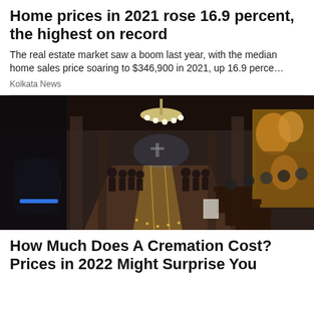Home prices in 2021 rose 16.9 percent, the highest on record
The real estate market saw a boom last year, with the median home sales price soaring to $346,900 in 2021, up 16.9 perce…
Kolkata News
[Figure (photo): Interior of an ornate church with people standing in pews and along the aisle, a chandelier hanging from the ceiling, baroque gold decorations visible on the right side]
How Much Does A Cremation Cost? Prices in 2022 Might Surprise You